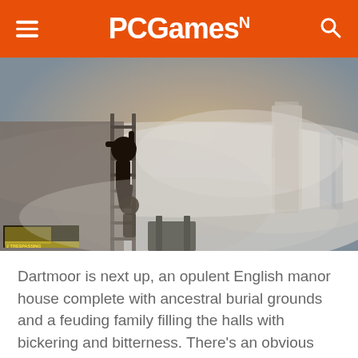PCGamesN
[Figure (screenshot): Screenshot from a video game showing a silhouetted figure climbing a ladder in a smoky, hazy environment with misty buildings visible in the background. A small minimap is visible in the lower left corner.]
Dartmoor is next up, an opulent English manor house complete with ancestral burial grounds and a feuding family filling the halls with bickering and bitterness. There's an obvious nod to Knives Out in one of the mission stories,